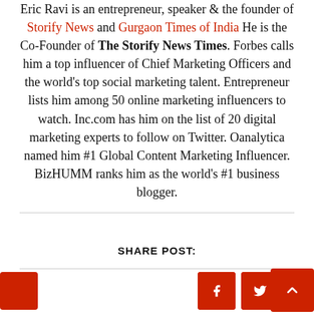Eric Ravi is an entrepreneur, speaker & the founder of Storify News and Gurgaon Times of India He is the Co-Founder of The Storify News Times. Forbes calls him a top influencer of Chief Marketing Officers and the world's top social marketing talent. Entrepreneur lists him among 50 online marketing influencers to watch. Inc.com has him on the list of 20 digital marketing experts to follow on Twitter. Oanalytica named him #1 Global Content Marketing Influencer. BizHUMM ranks him as the world's #1 business blogger.
SHARE POST: